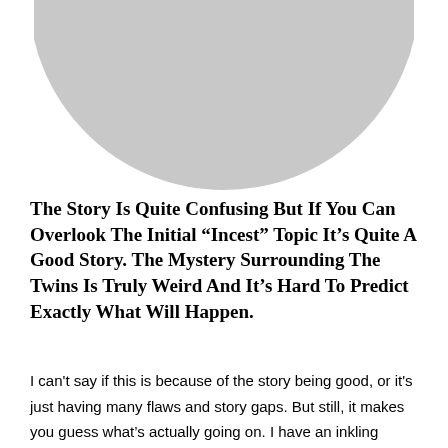[Figure (illustration): A large light gray filled circle, partially cropped at the top, centered horizontally on the page, serving as a profile picture placeholder.]
The Story Is Quite Confusing But If You Can Overlook The Initial “Incest” Topic It’s Quite A Good Story. The Mystery Surrounding The Twins Is Truly Weird And It’s Hard To Predict Exactly What Will Happen.
I can't say if this is because of the story being good, or it's just having many flaws and story gaps. But still, it makes you guess what’s actually going on. I have an inkling Inette is actually more sinister in nature than what we’re initially being lead to believe. But that’s just pure speculation.